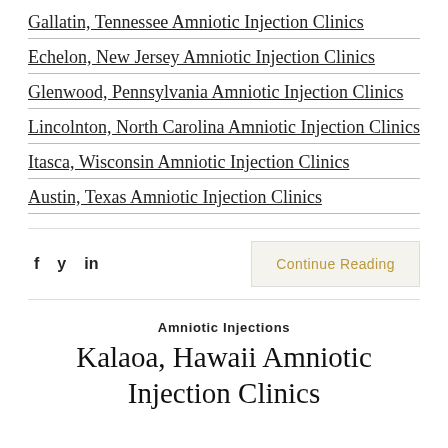Gallatin, Tennessee Amniotic Injection Clinics
Echelon, New Jersey Amniotic Injection Clinics
Glenwood, Pennsylvania Amniotic Injection Clinics
Lincolnton, North Carolina Amniotic Injection Clinics
Itasca, Wisconsin Amniotic Injection Clinics
Austin, Texas Amniotic Injection Clinics
f  y  in  Continue Reading
Amniotic Injections
Kalaoa, Hawaii Amniotic Injection Clinics